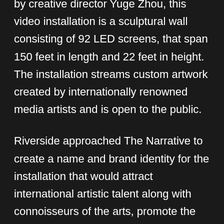by creative director Yuge Zhou, this video installation is a sculptural wall consisting of 92 LED screens, that span 150 feet in length and 22 feet in height. The installation streams custom artwork created by internationally renowned media artists and is open to the public.
Riverside approached The Narrative to create a name and brand identity for the installation that would attract international artistic talent along with connoisseurs of the arts, promote the education program